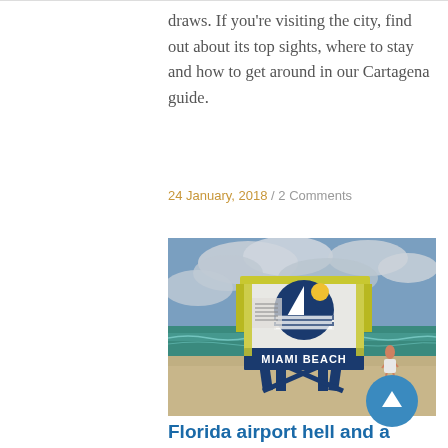draws. If you're visiting the city, find out about its top sights, where to stay and how to get around in our Cartagena guide.
24 January, 2018 / 2 Comments
[Figure (photo): A Miami Beach lifeguard stand on the beach with the ocean in the background. The stand is painted yellow and blue and features a circular logo with a sailboat and sun. The words 'MIAMI BEACH' are written on the base of the stand. A person is visible jogging in the background on the right.]
Florida airport hell and a